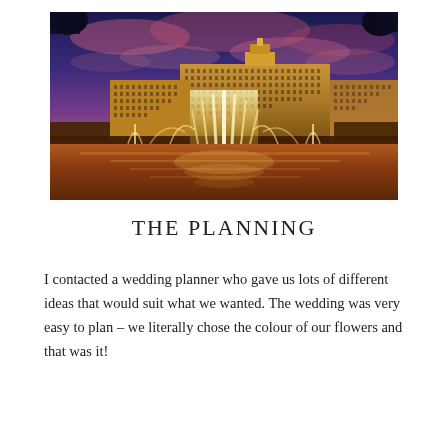[Figure (photo): Nighttime/dusk photo of a large luxury hotel and casino (Bellagio, Las Vegas) with illuminated fountains in the foreground and a dramatic purple and pink sky with clouds in the background.]
THE PLANNING
I contacted a wedding planner who gave us lots of different ideas that would suit what we wanted. The wedding was very easy to plan – we literally chose the colour of our flowers and that was it!